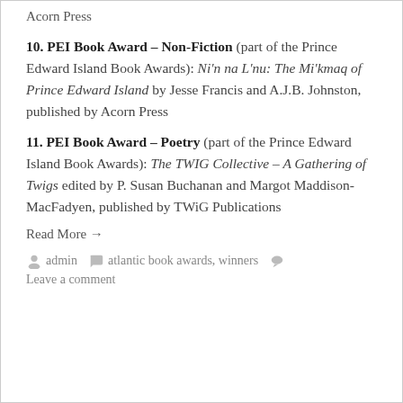Acorn Press
10. PEI Book Award – Non-Fiction (part of the Prince Edward Island Book Awards): Ni'n na L'nu: The Mi'kmaq of Prince Edward Island by Jesse Francis and A.J.B. Johnston, published by Acorn Press
11. PEI Book Award – Poetry (part of the Prince Edward Island Book Awards): The TWIG Collective – A Gathering of Twigs edited by P. Susan Buchanan and Margot Maddison-MacFadyen, published by TWiG Publications
Read More →
admin   atlantic book awards, winners   Leave a comment